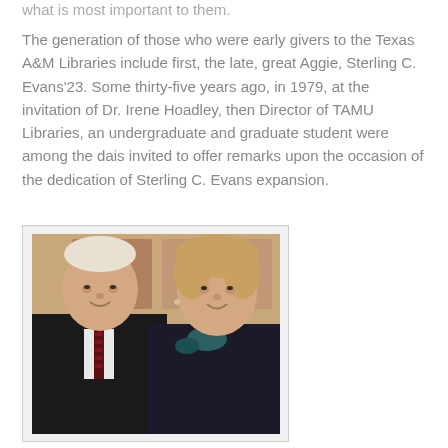what is most important to them.
The generation of those who were early givers to the Texas A&M Libraries include first, the late, great Aggie, Sterling C. Evans'23. Some thirty-five years ago, in 1979, at the invitation of Dr. Irene Hoadley, then Director of TAMU Libraries, an undergraduate and graduate student were among the dais invited to offer remarks upon the occasion of the dedication of Sterling C. Evans expansion.
[Figure (photo): Portrait photograph of an elderly man in a dark suit with a striped tie and an elderly woman in a dark outfit with a bow, both smiling.]